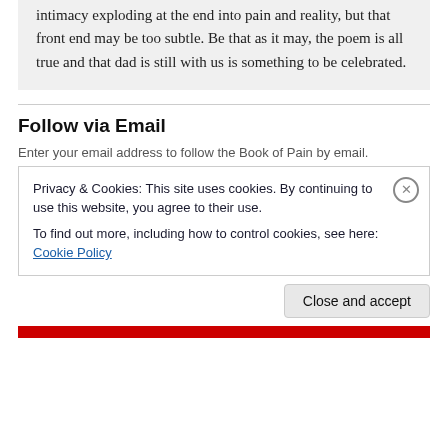intimacy exploding at the end into pain and reality, but that front end may be too subtle. Be that as it may, the poem is all true and that dad is still with us is something to be celebrated.
Follow via Email
Enter your email address to follow the Book of Pain by email.
Privacy & Cookies: This site uses cookies. By continuing to use this website, you agree to their use.
To find out more, including how to control cookies, see here: Cookie Policy